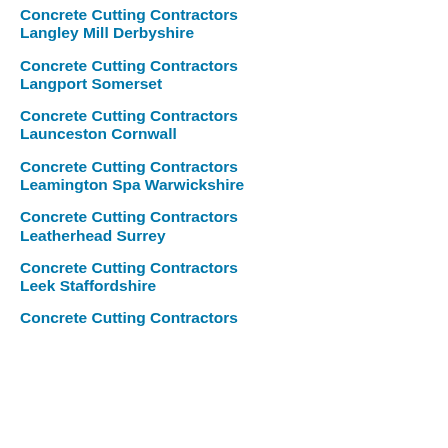Concrete Cutting Contractors Langley Mill Derbyshire
Concrete Cutting Contractors Langport Somerset
Concrete Cutting Contractors Launceston Cornwall
Concrete Cutting Contractors Leamington Spa Warwickshire
Concrete Cutting Contractors Leatherhead Surrey
Concrete Cutting Contractors Leek Staffordshire
Concrete Cutting Contractors